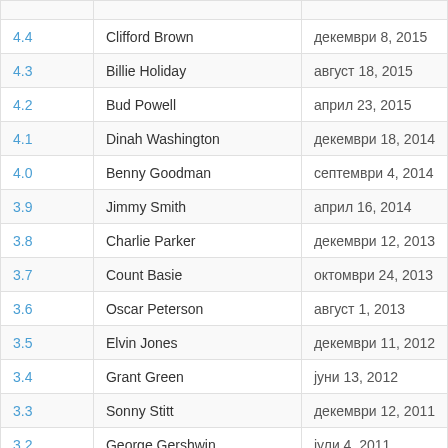|  |  |  |
| --- | --- | --- |
| 4.4 | Clifford Brown | декември 8, 2015 |
| 4.3 | Billie Holiday | август 18, 2015 |
| 4.2 | Bud Powell | април 23, 2015 |
| 4.1 | Dinah Washington | декември 18, 2014 |
| 4.0 | Benny Goodman | септември 4, 2014 |
| 3.9 | Jimmy Smith | април 16, 2014 |
| 3.8 | Charlie Parker | декември 12, 2013 |
| 3.7 | Count Basie | октомври 24, 2013 |
| 3.6 | Oscar Peterson | август 1, 2013 |
| 3.5 | Elvin Jones | декември 11, 2012 |
| 3.4 | Grant Green | јуни 13, 2012 |
| 3.3 | Sonny Stitt | декември 12, 2011 |
| 3.2 | George Gershwin | јули 4, 2011 |